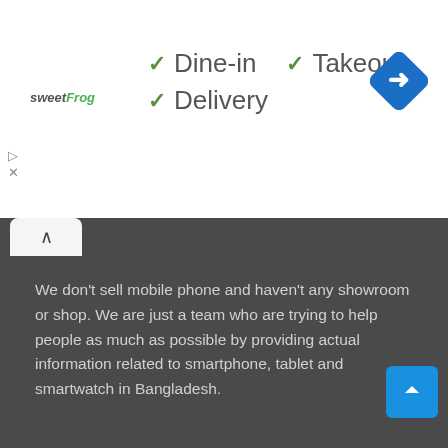[Figure (logo): sweetFrog logo in italic font, 'sweet' in gray and 'Frog' in green]
✓ Dine-in   ✓ Takeout
✓ Delivery
[Figure (illustration): Blue diamond-shaped navigation/directions icon with white right-arrow inside]
[Figure (other): Collapse/chevron up button, small white rounded rectangle with up arrow]
We don't sell mobile phone and haven't any showroom or shop. We are just a team who are trying to help people as much as possible by providing actual information related to smartphone, tablet and smartwatch in Bangladesh.
Copyright © 2022 MobilePagla.com
Privacy Policy   Terms and Conditions   Contact Us   Faceb...